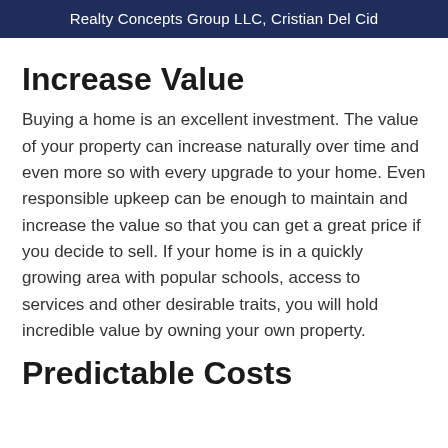Realty Concepts Group LLC, Cristian Del Cid
Increase Value
Buying a home is an excellent investment. The value of your property can increase naturally over time and even more so with every upgrade to your home. Even responsible upkeep can be enough to maintain and increase the value so that you can get a great price if you decide to sell. If your home is in a quickly growing area with popular schools, access to services and other desirable traits, you will hold incredible value by owning your own property.
Predictable Costs